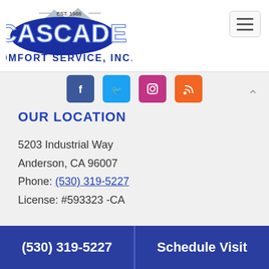[Figure (logo): Cascade Comfort Service, Inc. logo with mountain graphic and EST. 1986 text]
[Figure (other): Social media icons row: Facebook, Twitter, Instagram, RSS]
OUR LOCATION
5203 Industrial Way
Anderson, CA 96007
Phone: (530) 319-5227
License: #593323 -CA
QUICK LINKS
(530) 319-5227 | Schedule Visit